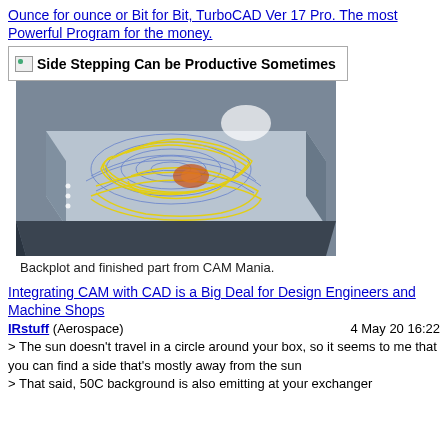Ounce for ounce or Bit for Bit, TurboCAD Ver 17 Pro. The most Powerful Program for the money.
[Figure (screenshot): Broken image placeholder labeled 'Side Stepping Can be Productive Sometimes']
[Figure (engineering-diagram): Backplot and finished part from CAM Mania — 3D CAM toolpath visualization showing yellow toolpaths over a blue/grey machined part on a grey platform]
Backplot and finished part from CAM Mania.
Integrating CAM with CAD is a Big Deal for Design Engineers and Machine Shops
IRstuff (Aerospace)    4 May 20 16:22
> The sun doesn't travel in a circle around your box, so it seems to me that you can find a side that's mostly away from the sun
> That said, 50C background is also emitting at your exchanger